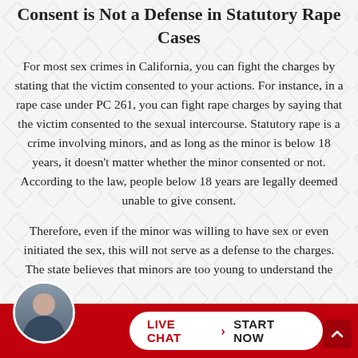Consent is Not a Defense in Statutory Rape Cases
For most sex crimes in California, you can fight the charges by stating that the victim consented to your actions. For instance, in a rape case under PC 261, you can fight rape charges by saying that the victim consented to the sexual intercourse. Statutory rape is a crime involving minors, and as long as the minor is below 18 years, it doesn't matter whether the minor consented or not. According to the law, people below 18 years are legally deemed unable to give consent.
Therefore, even if the minor was willing to have sex or even initiated the sex, this will not serve as a defense to the charges. The state believes that minors are too young to understand the